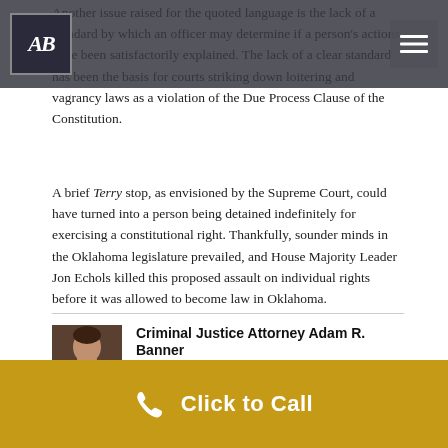AB [logo] [navigation menu]
Another issue raised for the quoted language is the lack of a standard by which an officer may determine if a person's actions have been satisfactorily explained. The lack of a clear standard has been the basis for courts striking down loitering and vagrancy laws as a violation of the Due Process Clause of the Constitution.
A brief Terry stop, as envisioned by the Supreme Court, could have turned into a person being detained indefinitely for exercising a constitutional right. Thankfully, sounder minds in the Oklahoma legislature prevailed, and House Majority Leader Jon Echols killed this proposed assault on individual rights before it was allowed to become law in Oklahoma.
[Figure (photo): Headshot photo of attorney Adam R. Banner]
Criminal Justice Attorney Adam R. Banner
Knowledgeable, experienced, and effective criminal defense